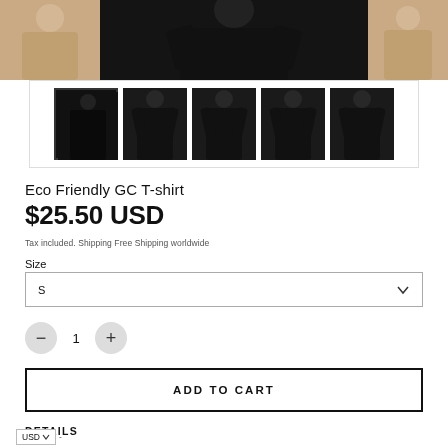[Figure (photo): Product images of Eco Friendly GC T-shirt — main hero image showing man in black t-shirt, flanked by partial views of two other models]
[Figure (photo): Thumbnail strip with 5 small product photos of the black t-shirt from various angles, first thumbnail has selection border]
Eco Friendly GC T-shirt
$25.50 USD
Tax included. Shipping Free Shipping worldwide
Size
S
1
ADD TO CART
DETAILS